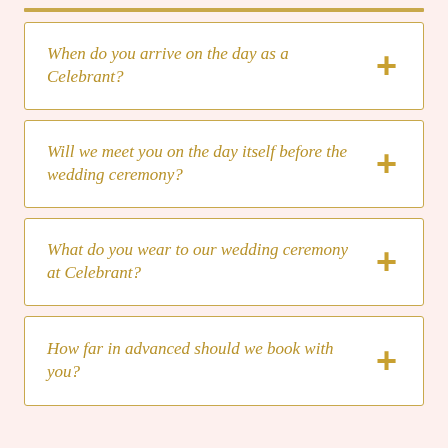When do you arrive on the day as a Celebrant?
Will we meet you on the day itself before the wedding ceremony?
What do you wear to our wedding ceremony at Celebrant?
How far in advanced should we book with you?